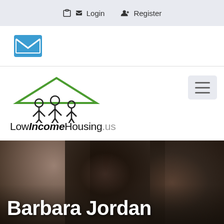Login   Register
[Figure (logo): Email/envelope icon in blue]
[Figure (logo): LowIncomeHousing.us logo with family silhouette under a green roof icon and text 'LowIncomeHousing.us']
[Figure (photo): Close-up photo of two children's faces, dark/warm toned]
Barbara Jordan